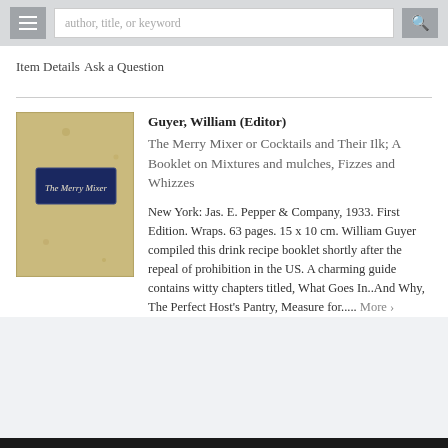author, title, or keyword
Item Details
Ask a Question
[Figure (photo): Book cover of 'The Merry Mixer' — a worn tan/beige cloth-bound booklet with a dark navy blue label reading 'The Merry Mixer' in cursive script]
Guyer, William (Editor)
The Merry Mixer or Cocktails and Their Ilk; A Booklet on Mixtures and mulches, Fizzes and Whizzes

New York: Jas. E. Pepper & Company, 1933. First Edition. Wraps. 63 pages. 15 x 10 cm. William Guyer compiled this drink recipe booklet shortly after the repeal of prohibition in the US. A charming guide contains witty chapters titled, What Goes In...And Why, The Perfect Host's Pantry, Measure for..... More >